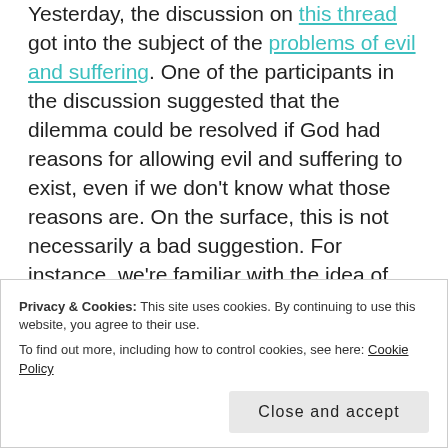Yesterday, the discussion on this thread got into the subject of the problems of evil and suffering. One of the participants in the discussion suggested that the dilemma could be resolved if God had reasons for allowing evil and suffering to exist, even if we don't know what those reasons are. On the surface, this is not necessarily a bad suggestion. For instance, we're familiar with the idea of enduring suffering when there is a larger payoff at the end: surgery and chemotherapy to remove a life-threatening tumor, or even something as mundane as the pain we feel from exercise, knowing it makes us stronger in the
Privacy & Cookies: This site uses cookies. By continuing to use this website, you agree to their use.
To find out more, including how to control cookies, see here: Cookie Policy